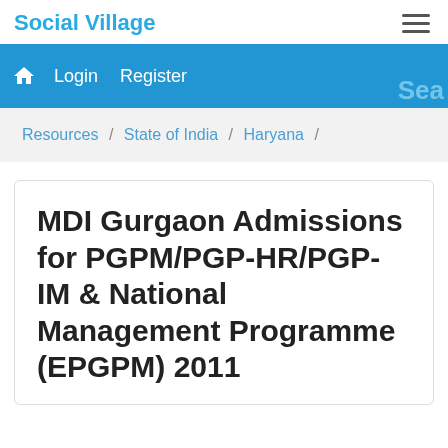Social Village
Login   Register   Sea
Resources / State of India / Haryana /
MDI Gurgaon Admissions for PGPM/PGP-HR/PGP-IM & National Management Programme (EPGPM) 2011